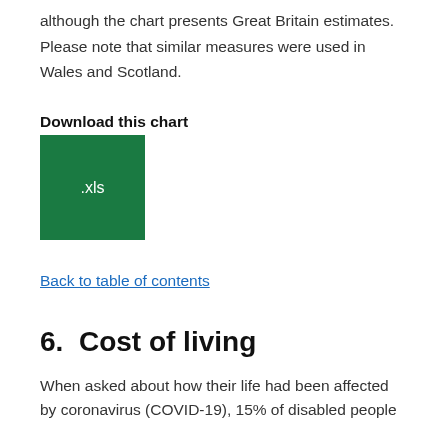although the chart presents Great Britain estimates. Please note that similar measures were used in Wales and Scotland.
Download this chart
[Figure (other): Green square button labeled .xls for downloading a chart file]
Back to table of contents
6.  Cost of living
When asked about how their life had been affected by coronavirus (COVID-19), 15% of disabled people